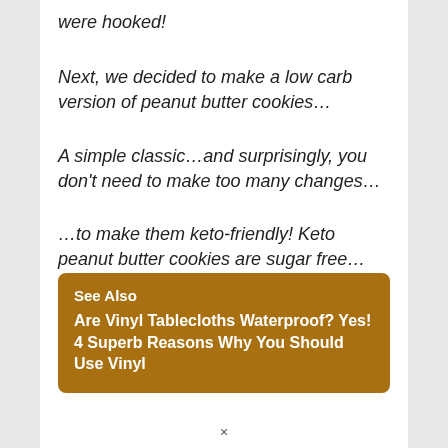were hooked!
Next, we decided to make a low carb version of peanut butter cookies…
A simple classic…and surprisingly, you don't need to make too many changes…
…to make them keto-friendly! Keto peanut butter cookies are sugar free…
See Also
Are Vinyl Tablecloths Waterproof? Yes! 4 Superb Reasons Why You Should Use Vinyl